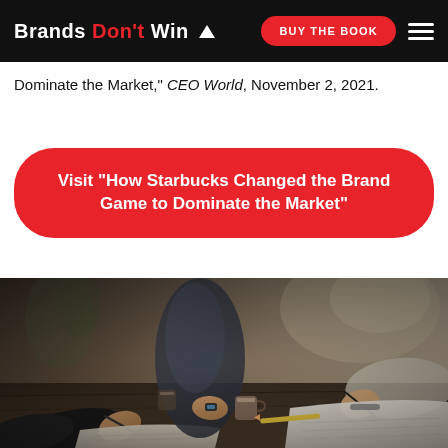Brands Don't Win △  BUY THE BOOK  ☰
Dominate the Market," CEO World, November 2, 2021.
Visit "How Starbucks Changed the Brand Game to Dominate the Market"
[Figure (photo): People sitting at a wooden table writing in notebooks and holding cups, collaborative meeting scene shot from above at an angle, close-up on hands and arms]